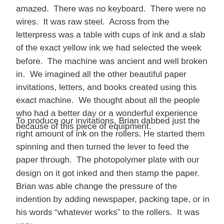amazed. There was no keyboard. There were no wires. It was raw steel. Across from the letterpress was a table with cups of ink and a slab of the exact yellow ink we had selected the week before. The machine was ancient and well broken in. We imagined all the other beautiful paper invitations, letters, and books created using this exact machine. We thought about all the people who had a better day or a wonderful experience because of this piece of equipment.
To produce our invitations, Brian dabbed just the right amount of ink on the rollers. He started them spinning and then turned the lever to feed the paper through. The photopolymer plate with our design on it got inked and then stamp the paper. Brian was able change the pressure of the indention by adding newspaper, packing tape, or in his words “whatever works” to the rollers. It was very